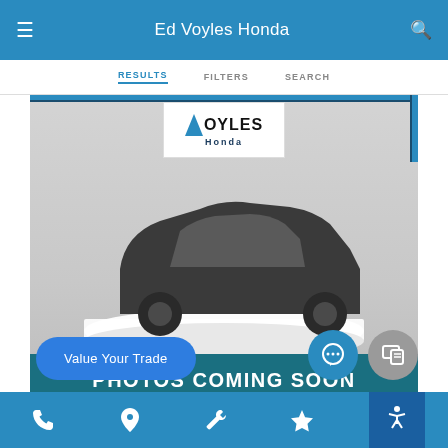Ed Voyles Honda
RESULTS   FILTERS   SEARCH
[Figure (screenshot): Ed Voyles Honda dealer website screenshot showing a placeholder car image (dark silhouette of a Honda SUV on a white display pedestal) with Voyles Honda logo at top, 'PHOTOS COMING SOON' teal banner at bottom, a 'Value Your Trade' blue pill button, chat and contact icon buttons, and a bottom navigation toolbar with phone, location, wrench, star, and accessibility icons.]